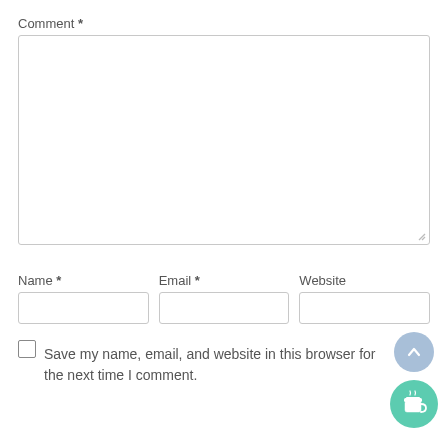Comment *
[Figure (other): Empty comment textarea with resize handle]
Name *
Email *
Website
[Figure (other): Empty Name input field]
[Figure (other): Empty Email input field]
[Figure (other): Empty Website input field]
Save my name, email, and website in this browser for the next time I comment.
[Figure (other): Scroll to top button (chevron up, light blue circle)]
[Figure (other): Buy me a coffee button (teal circle with coffee cup icon)]